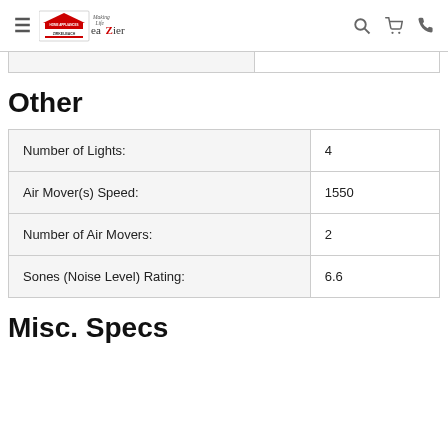Zirkelbach Home Appliances — Making Life eaZier
Other
|  |  |
| --- | --- |
| Number of Lights: | 4 |
| Air Mover(s) Speed: | 1550 |
| Number of Air Movers: | 2 |
| Sones (Noise Level) Rating: | 6.6 |
Misc. Specs